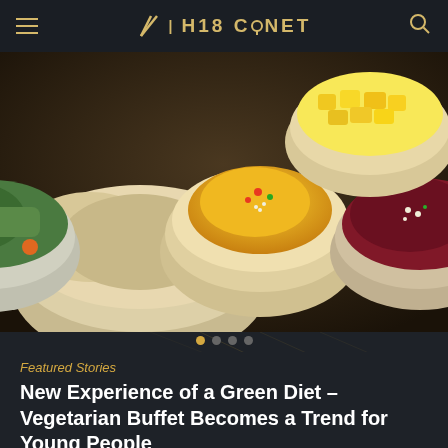H18 CONET
[Figure (photo): Multiple white ceramic bowls filled with various colorful food dishes including vegetables, rice, yellow curry, and beet salad arranged on a dark surface]
Featured Stories
New Experience of a Green Diet – Vegetarian Buffet Becomes a Trend for Young People
Local vegetarian restaurants often give an impression of traditional Chinese styled cuisine, or a connection to